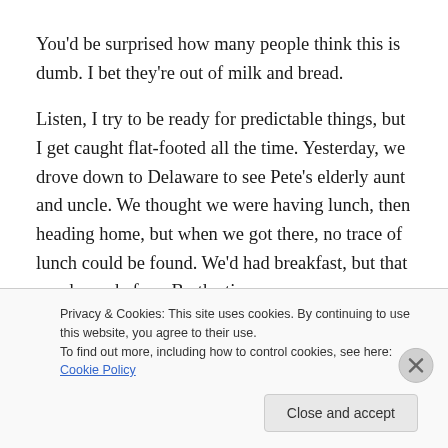You'd be surprised how many people think this is dumb. I bet they're out of milk and bread.
Listen, I try to be ready for predictable things, but I get caught flat-footed all the time. Yesterday, we drove down to Delaware to see Pete's elderly aunt and uncle. We thought we were having lunch, then heading home, but when we got there, no trace of lunch could be found. We'd had breakfast, but that was hours before. By the time
Privacy & Cookies: This site uses cookies. By continuing to use this website, you agree to their use.
To find out more, including how to control cookies, see here: Cookie Policy
Close and accept